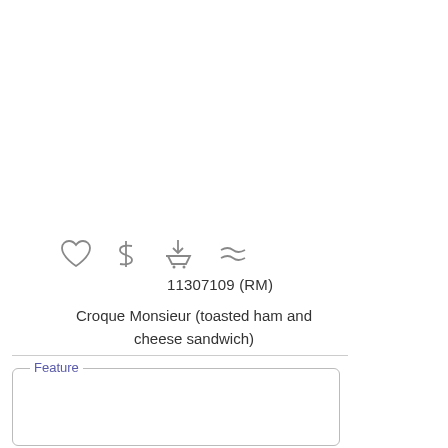[Figure (other): Row of four icons: heart, dollar sign, shopping cart with download arrow, and approximately-equal symbol]
11307109 (RM)
Croque Monsieur (toasted ham and cheese sandwich)
Feature